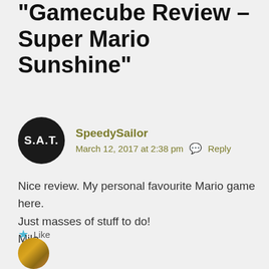“Gamecube Review – Super Mario Sunshine”
[Figure (other): Round black avatar with white text S.A.T.]
SpeedySailor
March 12, 2017 at 2:38 pm   Reply
Nice review. My personal favourite Mario game here. Just masses of stuff to do!
Milo.
Like
[Figure (other): Partial view of a golden/brown avatar circle at the bottom of the page]